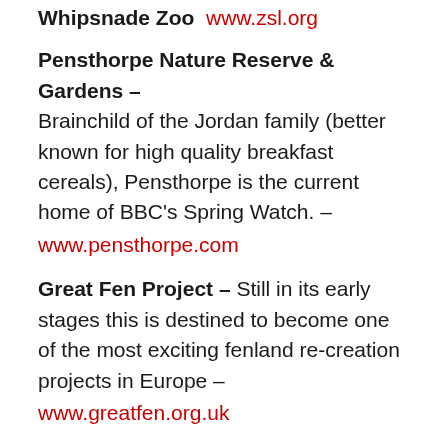Whipsnade Zoo  www.zsl.org
Pensthorpe Nature Reserve & Gardens – Brainchild of the Jordan family (better known for high quality breakfast cereals), Pensthorpe is the current home of BBC's Spring Watch. – www.pensthorpe.com
Great Fen Project – Still in its early stages this is destined to become one of the most exciting fenland re-creation projects in Europe – www.greatfen.org.uk
RSPB (Royal Society for the Protection of Birds – As regular readers will note the RSPB crops up regularly in recommended website: with